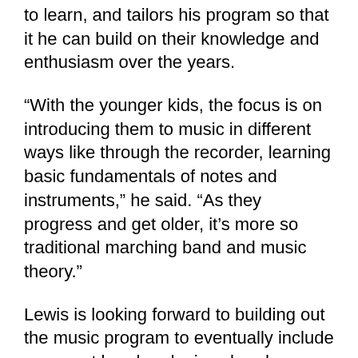to learn, and tailors his program so that it he can build on their knowledge and enthusiasm over the years.
“With the younger kids, the focus is on introducing them to music in different ways like through the recorder, learning basic fundamentals of notes and instruments,” he said. “As they progress and get older, it’s more so traditional marching band and music theory.”
Lewis is looking forward to building out the music program to eventually include a concert band and a jazz band.
“Right now, we are pretty much getting everybody acclimated with the fundaments of reading music and performing,” he said.
Lewis said he’s lucky to currently work with one of his school mates from McDonogh 35, Veronique Dorsey, who is an instructional coach at Gordon and helps out